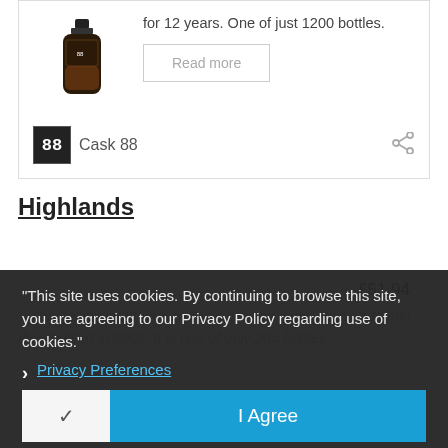[Figure (photo): Product photo of a dark whisky bottle with label, partially shown at top left of card]
for 12 years. One of just 1200 bottles.
Read more
[Figure (logo): Cask 88 logo: black square with '88' in white monospace font]
Cask 88
Highlands
"This site uses cookies. By continuing to browse this site, you are agreeing to our Privacy Policy regarding use of cookies."
Privacy Preferences
I Agree